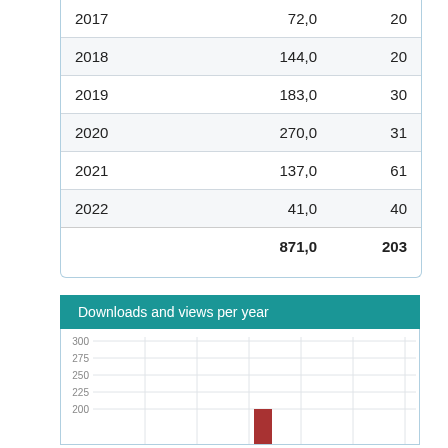| Year | Downloads | Views |
| --- | --- | --- |
| 2017 | 72,0 | 20 |
| 2018 | 144,0 | 20 |
| 2019 | 183,0 | 30 |
| 2020 | 270,0 | 31 |
| 2021 | 137,0 | 61 |
| 2022 | 41,0 | 40 |
|  | 871,0 | 203 |
Downloads and views per year
[Figure (bar-chart): Downloads and views per year]